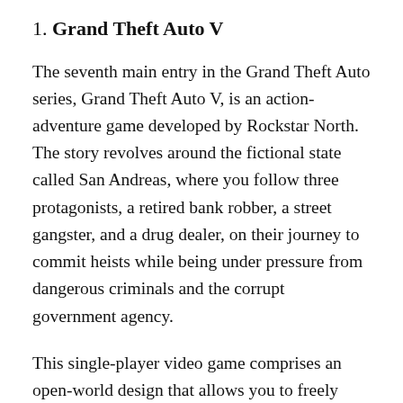1. Grand Theft Auto V
The seventh main entry in the Grand Theft Auto series, Grand Theft Auto V, is an action-adventure game developed by Rockstar North. The story revolves around the fictional state called San Andreas, where you follow three protagonists, a retired bank robber, a street gangster, and a drug dealer, on their journey to commit heists while being under pressure from dangerous criminals and the corrupt government agency.
This single-player video game comprises an open-world design that allows you to freely explore San Andreas and also the city of Los Altos. You can switch between the three protagonists throughout the gameplay while operating under either the third-person or first-